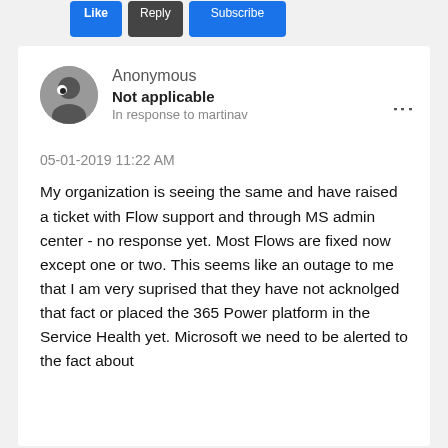[Figure (screenshot): Top bar with three buttons: a blue button, a dark/grey button, and a blue button]
Anonymous
Not applicable
In response to martinav
05-01-2019 11:22 AM
My organization is seeing the same and have raised a ticket with Flow support and through MS admin center - no response yet. Most Flows are fixed now except one or two. This seems like an outage to me that I am very suprised that they have not acknolged that fact or placed the 365 Power platform in the Service Health yet. Microsoft we need to be alerted to the fact about